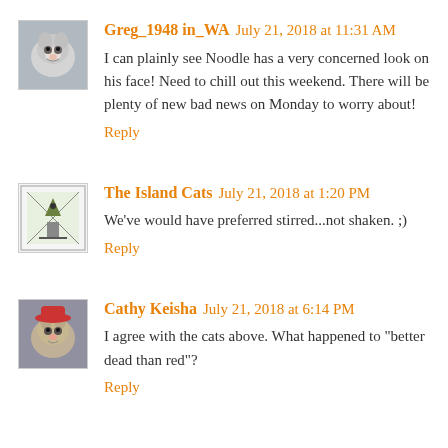[Figure (photo): Avatar thumbnail of a cat (gray and white, fluffy) for user Greg_1948 in_WA]
Greg_1948 in_WA July 21, 2018 at 11:31 AM
I can plainly see Noodle has a very concerned look on his face! Need to chill out this weekend. There will be plenty of new bad news on Monday to worry about!
Reply
[Figure (illustration): Avatar thumbnail showing a stylized cat silhouette illustration for The Island Cats]
The Island Cats July 21, 2018 at 1:20 PM
We've would have preferred stirred...not shaken. ;)
Reply
[Figure (photo): Avatar thumbnail of a cat wearing a hat for Cathy Keisha]
Cathy Keisha July 21, 2018 at 6:14 PM
I agree with the cats above. What happened to "better dead than red"?
Reply